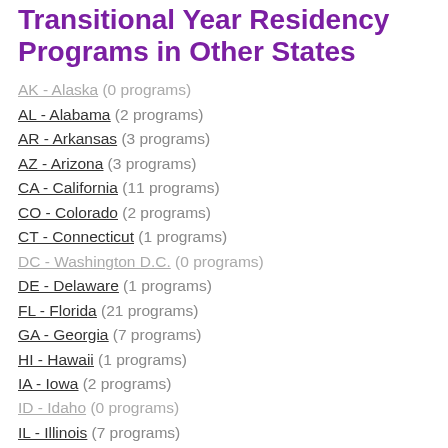Transitional Year Residency Programs in Other States
AK - Alaska (0 programs)
AL - Alabama (2 programs)
AR - Arkansas (3 programs)
AZ - Arizona (3 programs)
CA - California (11 programs)
CO - Colorado (2 programs)
CT - Connecticut (1 programs)
DC - Washington D.C. (0 programs)
DE - Delaware (1 programs)
FL - Florida (21 programs)
GA - Georgia (7 programs)
HI - Hawaii (1 programs)
IA - Iowa (2 programs)
ID - Idaho (0 programs)
IL - Illinois (7 programs)
IN - Indiana (3 programs)
KS - Kansas (0 programs)